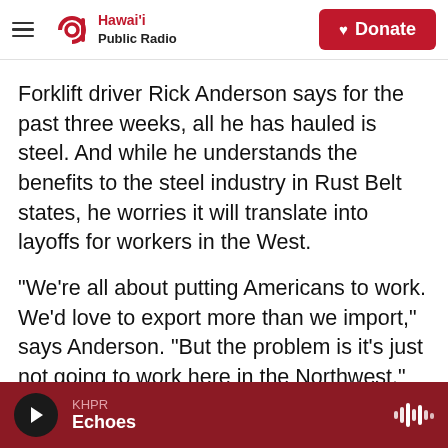Hawai'i Public Radio — Donate
Forklift driver Rick Anderson says for the past three weeks, all he has hauled is steel. And while he understands the benefits to the steel industry in Rust Belt states, he worries it will translate into layoffs for workers in the West.
"We're all about putting Americans to work. We'd love to export more than we import," says Anderson. "But the problem is it's just not going to work here in the Northwest."
Anderson says that a lot of his colleagues have been on edge since the president announced the tariffs.
KHPR — Echoes